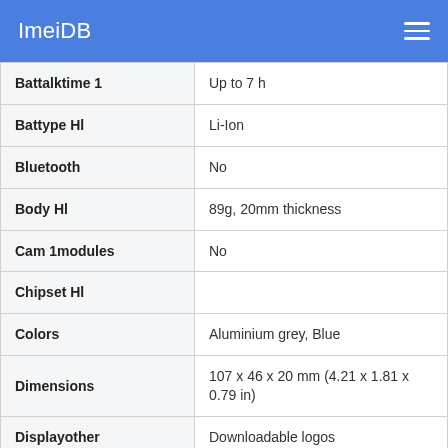ImeiDB
| Property | Value |
| --- | --- |
| Battalktime 1 | Up to 7 h |
| Battype Hl | Li-Ion |
| Bluetooth | No |
| Body Hl | 89g, 20mm thickness |
| Cam 1modules | No |
| Chipset Hl |  |
| Colors | Aluminium grey, Blue |
| Dimensions | 107 x 46 x 20 mm (4.21 x 1.81 x 0.79 in) |
| Displayother | Downloadable logos |
| Displayres Hl | 112x64 pixels |